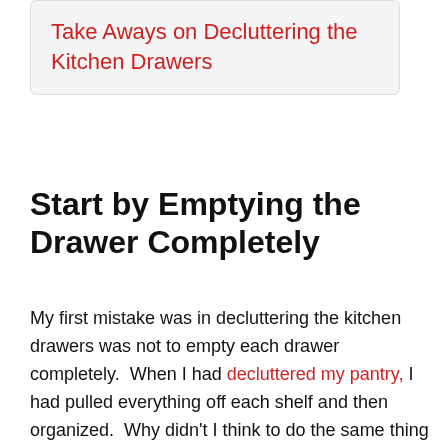Take Aways on Decluttering the Kitchen Drawers
Start by Emptying the Drawer Completely
My first mistake was in decluttering the kitchen drawers was not to empty each drawer completely.  When I had decluttered my pantry, I had pulled everything off each shelf and then organized.  Why didn't I think to do the same thing this time?  After going around in circles for a while I did some research on the internet and found an article, Hacks and Tips for Organizing Your Kitchen Drawers.  That article suggested pulling